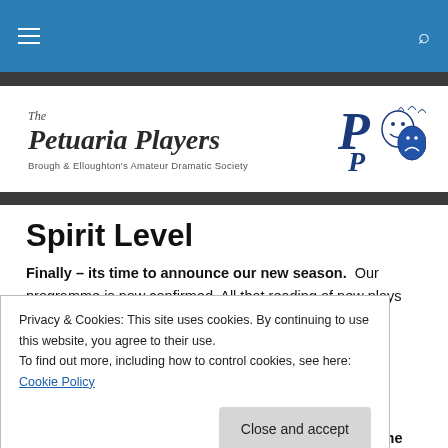Navigation bar with hamburger menu and search icon
[Figure (logo): The Petuaria Players logo with illustrated theatre masks and text 'Brough & Elloughton's Amateur Dramatic Society']
Spirit Level
Finally – its time to announce our new season.  Our programme is now confirmed. All that reading of new plays
Privacy & Cookies: This site uses cookies. By continuing to use this website, you agree to their use.
To find out more, including how to control cookies, see here: Cookie Policy
Close and accept
professional involvement....  but we'll leave that for the